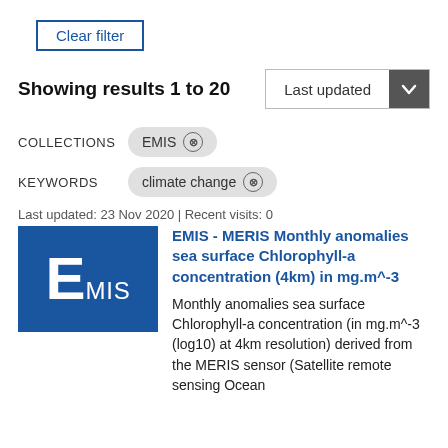Clear filter
Showing results 1 to 20
Last updated
COLLECTIONS   EMIS ×
KEYWORDS   climate change ×
Last updated: 23 Nov 2020 | Recent visits: 0
EMIS - MERIS Monthly anomalies sea surface Chlorophyll-a concentration (4km) in mg.m^-3
Monthly anomalies sea surface Chlorophyll-a concentration (in mg.m^-3 (log10) at 4km resolution) derived from the MERIS sensor (Satellite remote sensing Ocean